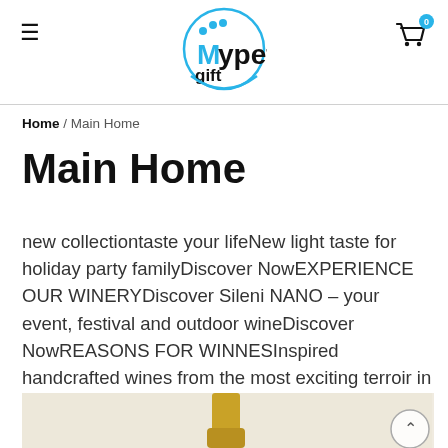Mypets.gift
Home / Main Home
Main Home
new collectiontaste your lifeNew light taste for holiday party familyDiscover NowEXPERIENCE OUR WINERYDiscover Sileni NANO – your event, festival and outdoor wineDiscover NowREASONS FOR WINNESInspired handcrafted wines from the most exciting terroir in FrenchDiscover Now
[Figure (photo): Bottom portion of a wine bottle on a light beige background]